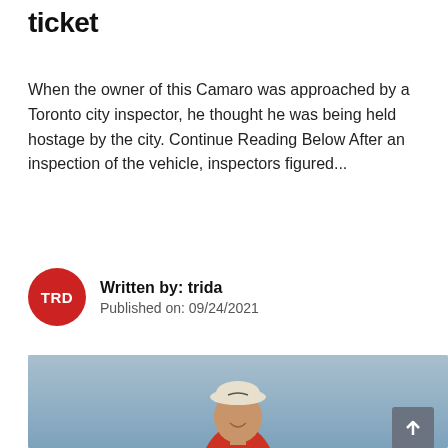ticket
When the owner of this Camaro was approached by a Toronto city inspector, he thought he was being held hostage by the city. Continue Reading Below After an inspection of the vehicle, inspectors figured...
Written by: trida
Published on: 09/24/2021
[Figure (photo): A smiling man wearing a white Nike cap and red polo shirt against a blue sky background. A scroll-to-top button is visible in the lower right corner of the image.]